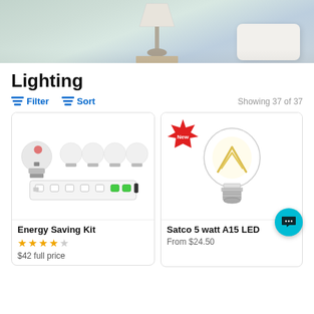[Figure (photo): Hero image showing a lamp on a bedside table with white pillow in background, soft bedroom lighting]
Lighting
Filter   Sort   Showing 37 of 37
[Figure (photo): Energy Saving Kit product image showing LED bulbs and power strip]
Energy Saving Kit
★★★★★ (4.5 stars)
$42 full price
[Figure (photo): Satco 5 watt A15 LED filament bulb, clear glass with visible gold filament in X pattern, badge reading New]
Satco 5 watt A15 LED
From $24.50